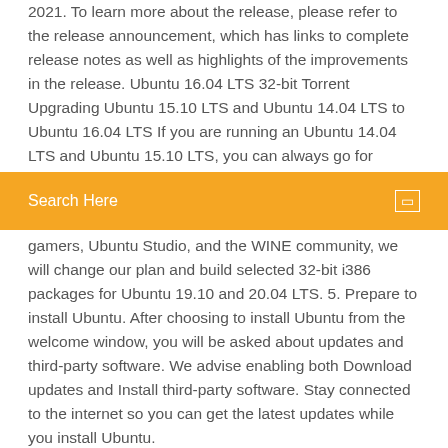2021. To learn more about the release, please refer to the release announcement, which has links to complete release notes as well as highlights of the improvements in the release. Ubuntu 16.04 LTS 32-bit Torrent Upgrading Ubuntu 15.10 LTS and Ubuntu 14.04 LTS to Ubuntu 16.04 LTS If you are running an Ubuntu 14.04 LTS and Ubuntu 15.10 LTS, you can always go for
Search Here
gamers, Ubuntu Studio, and the WINE community, we will change our plan and build selected 32-bit i386 packages for Ubuntu 19.10 and 20.04 LTS. 5. Prepare to install Ubuntu. After choosing to install Ubuntu from the welcome window, you will be asked about updates and third-party software. We advise enabling both Download updates and Install third-party software. Stay connected to the internet so you can get the latest updates while you install Ubuntu.
تحميل برنامج sim city 3000 windows 10